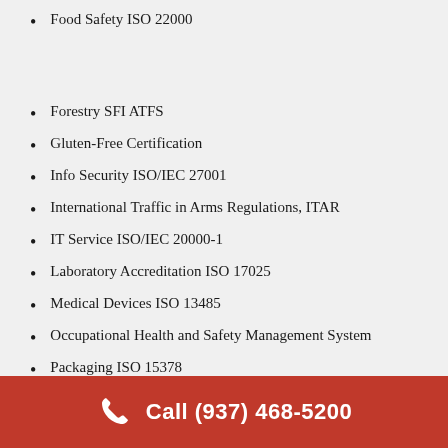Food Safety ISO 22000
Forestry SFI ATFS
Gluten-Free Certification
Info Security ISO/IEC 27001
International Traffic in Arms Regulations, ITAR
IT Service ISO/IEC 20000-1
Laboratory Accreditation ISO 17025
Medical Devices ISO 13485
Occupational Health and Safety Management System
Packaging ISO 15378
Quality ISO 9001
Responsible Care RC14001
Supply Chain ISO 28000
Telecommunications TL 9000
Call (937) 468-5200